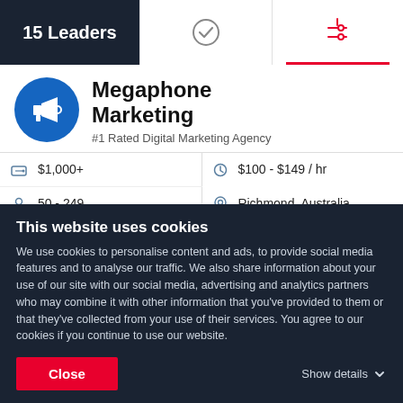15 Leaders
Megaphone Marketing
#1 Rated Digital Marketing Agency
| $1,000+ | $100 - $149 / hr |
| 50 - 249 | Richmond, Australia |
Ability to deliver  36.9
This website uses cookies
We use cookies to personalise content and ads, to provide social media features and to analyse our traffic. We also share information about your use of our site with our social media, advertising and analytics partners who may combine it with other information that you've provided to them or that they've collected from your use of their services. You agree to our cookies if you continue to use our website.
Close
Show details